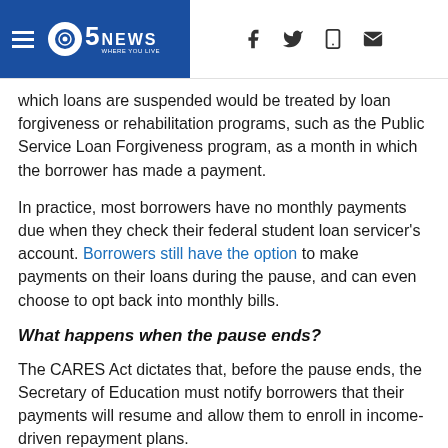5 News – Where You Live
which loans are suspended would be treated by loan forgiveness or rehabilitation programs, such as the Public Service Loan Forgiveness program, as a month in which the borrower has made a payment.
In practice, most borrowers have no monthly payments due when they check their federal student loan servicer's account. Borrowers still have the option to make payments on their loans during the pause, and can even choose to opt back into monthly bills.
What happens when the pause ends?
The CARES Act dictates that, before the pause ends, the Secretary of Education must notify borrowers that their payments will resume and allow them to enroll in income-driven repayment plans.
Unless modifications were made to the loan terms, when the pause ends borrowers' loan repayments will resume as